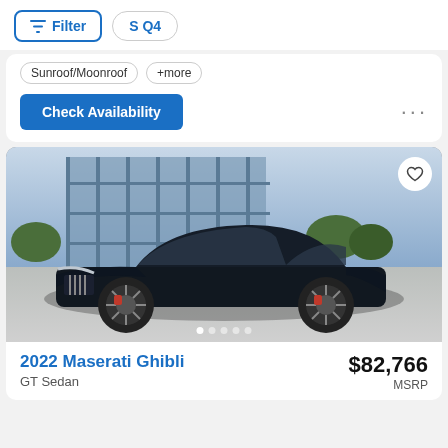Filter   S Q4
Sunroof/Moonroof   +more
Check Availability
[Figure (photo): Black 2022 Maserati Ghibli GT Sedan parked in front of a glass building, front three-quarter view, with red brake calipers visible.]
2022 Maserati Ghibli
GT Sedan
$82,766
MSRP